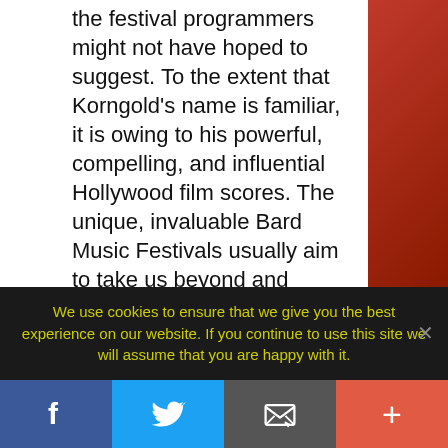the festival programmers might not have hoped to suggest. To the extent that Korngold's name is familiar, it is owing to his powerful, compelling, and influential Hollywood film scores. The unique, invaluable Bard Music Festivals usually aim to take us beyond and behind the headlines associated with its central figures and to give us a means to re-evaluate them in a more nuanced way, in the context of their less familiar works as well as those of their contemporaries. In the case of my encounter with Korngold, however, the result was a strengthening of the general view that this composer was born to compose film scores. Up to now, Korngold's non-film
We use cookies to ensure that we give you the best experience on our website. If you continue to use this site we will assume that you are happy with it.
[Figure (other): Social sharing bar with four buttons: Facebook (blue), Twitter (light blue), Email (gray), and Plus/More (orange-red)]